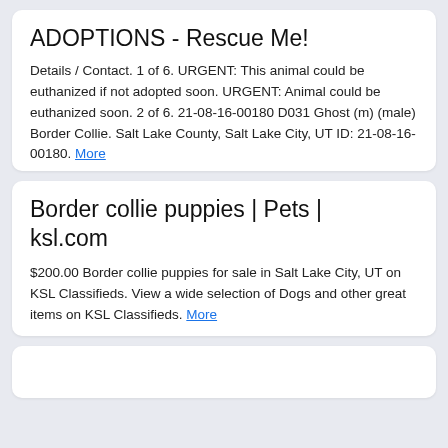ADOPTIONS - Rescue Me!
Details / Contact. 1 of 6. URGENT: This animal could be euthanized if not adopted soon. URGENT: Animal could be euthanized soon. 2 of 6. 21-08-16-00180 D031 Ghost (m) (male) Border Collie. Salt Lake County, Salt Lake City, UT ID: 21-08-16-00180. More
Border collie puppies | Pets | ksl.com
$200.00 Border collie puppies for sale in Salt Lake City, UT on KSL Classifieds. View a wide selection of Dogs and other great items on KSL Classifieds. More